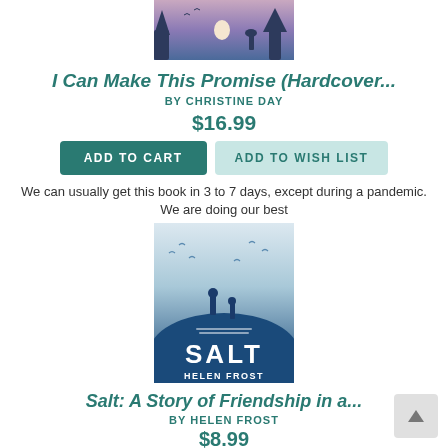[Figure (illustration): Top portion of a book cover showing a purple/blue twilight scene with silhouetted trees, birds, and a deer]
I Can Make This Promise (Hardcover...
BY CHRISTINE DAY
$16.99
ADD TO CART   ADD TO WISH LIST
We can usually get this book in 3 to 7 days, except during a pandemic. We are doing our best
[Figure (illustration): Book cover for SALT by Helen Frost showing two silhouetted figures standing on a blue hillside with birds flying in the sky]
Salt: A Story of Friendship in a...
BY HELEN FROST
$8.99